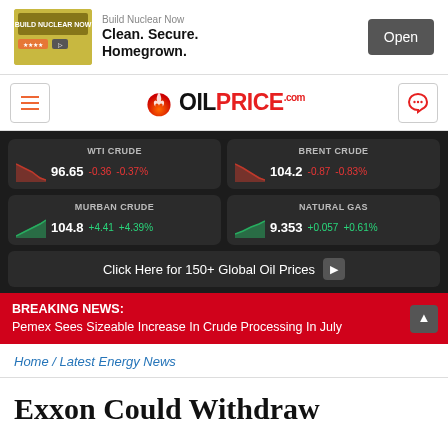[Figure (screenshot): Advertisement banner: Build Nuclear Now – Clean. Secure. Homegrown. with Open button]
[Figure (logo): OilPrice.com logo with flame icon, hamburger menu left, chat icon right]
| Commodity | Price | Change | Change% |
| --- | --- | --- | --- |
| WTI CRUDE | 96.65 | -0.36 | -0.37% |
| BRENT CRUDE | 104.2 | -0.87 | -0.83% |
| MURBAN CRUDE | 104.8 | +4.41 | +4.39% |
| NATURAL GAS | 9.353 | +0.057 | +0.61% |
Click Here for 150+ Global Oil Prices
BREAKING NEWS: Pemex Sees Sizeable Increase In Crude Processing In July
Home / Latest Energy News
Exxon Could Withdraw